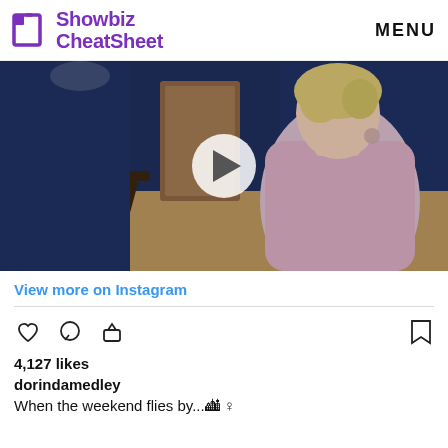Showbiz CheatSheet | MENU
[Figure (screenshot): Video thumbnail showing a woman with short blonde hair wearing a light pink sleeveless top, sitting in a room with blue walls and wooden furniture. A white circular play button overlay is visible in the center.]
View more on Instagram
4,127 likes
dorindamedley
When the weekend flies by...🏙 ♀